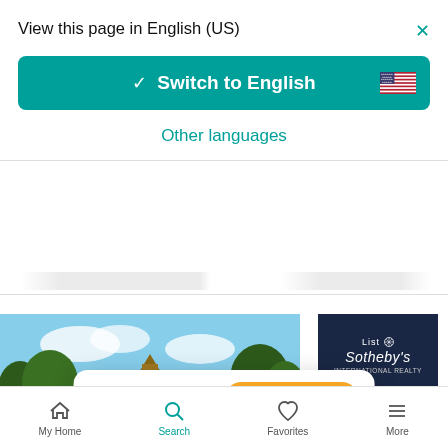View this page in English (US)
Switch to English
Other languages
[Figure (logo): List Sotheby's International Realty logo on dark navy background]
[Figure (photo): Property photo showing a building with a spire surrounded by lush green trees against a blue sky]
Want to get updates?
Save search
My Home  Search  Favorites  More